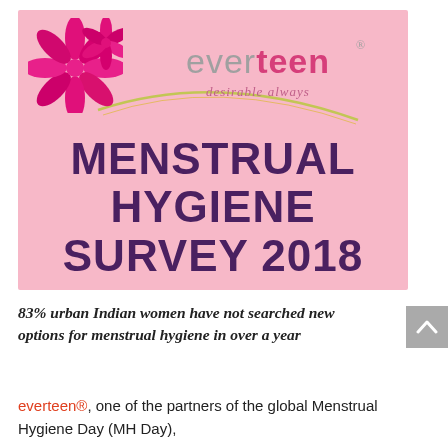[Figure (logo): everteen brand banner with pink background, flower logo, 'everteen desirable always' text, and large bold text 'MENSTRUAL HYGIENE SURVEY 2018']
83% urban Indian women have not searched new options for menstrual hygiene in over a year
everteen®, one of the partners of the global Menstrual Hygiene Day (MH Day),